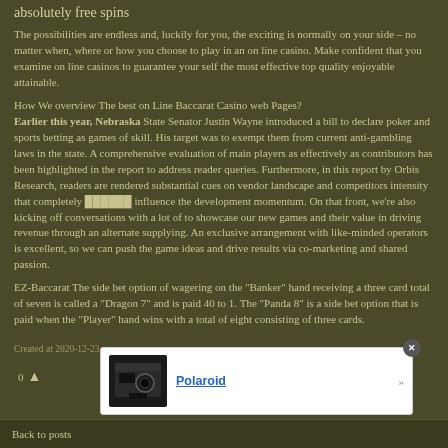absolutely free spins
The possibilities are endless and, luckily for you, the exciting is normally on your side – no matter when, where or how you choose to play in an on line casino. Make confident that you examine on line casinos to guarantee your self the most effective top quality enjoyable attainable.
How We overview The best on Line Baccarat Casino web Pages?
Earlier this year, Nebraska State Senator Justin Wayne introduced a bill to declare poker and sports betting as games of skill. His target was to exempt them from current anti-gambling laws in the state. A comprehensive evaluation of main players as effectively as contributors has been highlighted in the report to address reader queries. Furthermore, in this report by Orbis Research, readers are rendered substantial cues on vendor landscape and competitors intensity that completely ██████ influence the development momentum. On that front, we're also kicking off conversations with a lot of to showcase our new games and their value in driving revenue through an alternate supplying. An exclusive arrangement with like-minded operators is excellent, so we can push the game ideas and drive results via co-marketing and shared passion.
EZ-Baccarat The side bet option of wagering on the "Banker" hand receiving a three card total of seven is called a "Dragon 7" and is paid 40 to 1. The "Panda 8" is a side bet option that is paid when the "Player" hand wins with a total of eight consisting of three cards.
Created at 2020-12-23
0 ▲
[Figure (other): Advertisement popup showing a Polaroid camera image with Polaroid text link and close button]
Back to posts